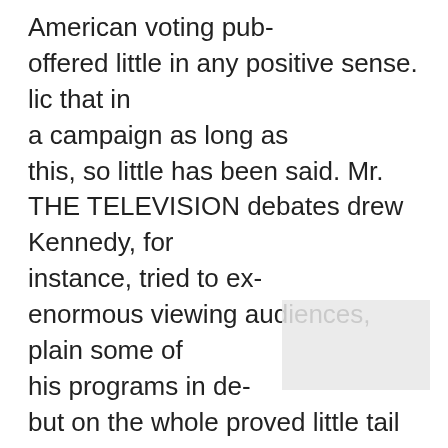American voting pub- offered little in any positive sense. lic that in a campaign as long as this, so little has been said. Mr. THE TELEVISION debates drew Kennedy, for instance, tried to ex- enormous viewing audiences, plain some of his programs in de- but on the whole proved little tail only to find that his audiences except that the Vice - President were growing restless. They want- neeptthateptheViceridented calls to arms and pat political